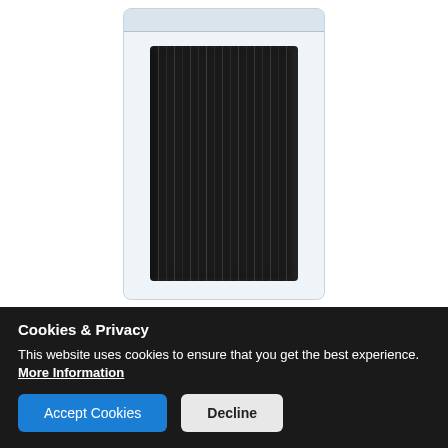[Figure (photo): Black heat shrink tubing variety pack in a clear plastic resealable bag, shown from above. The bundle of black tubing pieces fills a rectangular clear bag with a zip-seal top.]
Heat Shrink - Assorted Diameters, 6" Long, 24 Pieces
2 to 1 heat shrink tubing variety pack. This pack includes six different diameters with four pieces of each size. Each piece is six inches in
Cookies & Privacy
This website uses cookies to ensure that you get the best experience. More Information
Accept Cookies
Decline